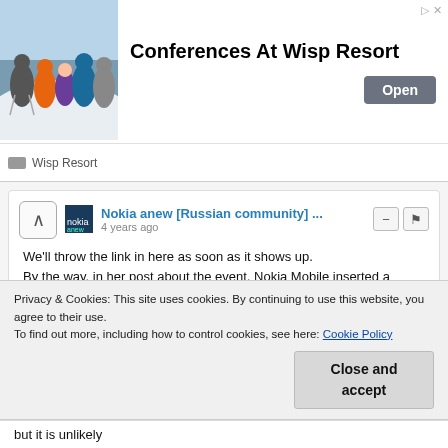[Figure (screenshot): Advertisement banner for Wisp Resort showing skiers, title 'Conferences At Wisp Resort', an Open button, and Wisp Resort footer with logo]
Nokia anew [Russian community] ...
4 years ago
We'll throw the link in here as soon as it shows up.
By the way, in her post about the event, Nokia Mobile inserted a hashtag #ChargedUp.
Also in the description was highlighted the word "charged".
"We are charged and ready for the announcement of new Nokia phones."
Apparently, the new smartphones will can boast of a big
Privacy & Cookies: This site uses cookies. By continuing to use this website, you agree to their use.
To find out more, including how to control cookies, see here: Cookie Policy
Close and accept
but it is unlikely